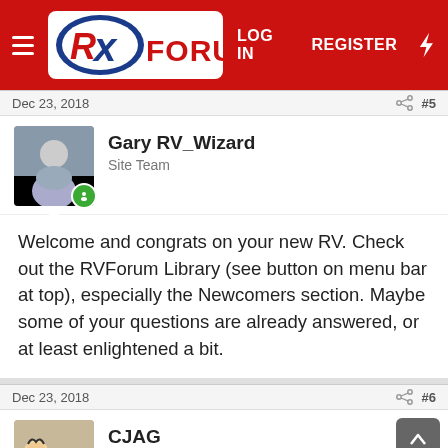RV FORUM — LOG IN   REGISTER
Dec 23, 2018   #5
Gary RV_Wizard
Site Team
Welcome and congrats on your new RV.  Check out the RVForum Library (see button on menu bar at top), especially the Newcomers section.  Maybe some of your questions are already answered, or at least enlightened a bit.
Dec 23, 2018   #6
CJAG
Well-known member
Welcome Doug, We bought our first RV 2 months